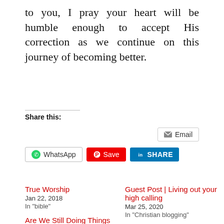to you, I pray your heart will be humble enough to accept His correction as we continue on this journey of becoming better.
Share this:
[Figure (screenshot): Social sharing buttons: Email, WhatsApp, Save (Pinterest), LinkedIn Share]
True Worship
Jan 22, 2018
In "bible"
Guest Post | Living out your high calling
Mar 25, 2020
In "Christian blogging"
Are We Still Doing Things